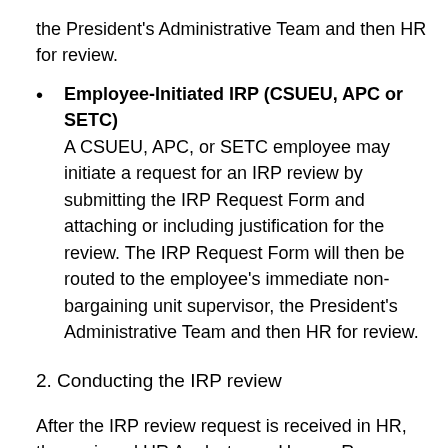the President's Administrative Team and then HR for review.
Employee-Initiated IRP (CSUEU, APC or SETC) A CSUEU, APC, or SETC employee may initiate a request for an IRP review by submitting the IRP Request Form and attaching or including justification for the review. The IRP Request Form will then be routed to the employee's immediate non-bargaining unit supervisor, the President's Administrative Team and then HR for review.
2. Conducting the IRP review
After the IRP review request is received in HR, the assigned HR Analyst, or a Human Resources Manager, who is trained in compensation methodology will review the revised job description (if applicable) and accompanying materials and conduct the review. The review may consist of an interview